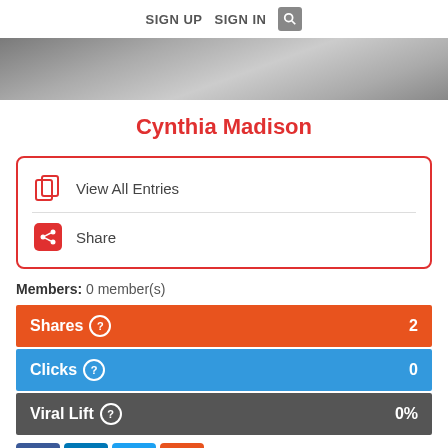SIGN UP   SIGN IN
[Figure (photo): Cropped hero banner image showing a person in casual clothing]
Cynthia Madison
View All Entries
Share
Members: 0 member(s)
Shares  2
Clicks  0
Viral Lift  0%
[Figure (infographic): Social share buttons: Facebook, LinkedIn, Twitter, and a plus/more button]